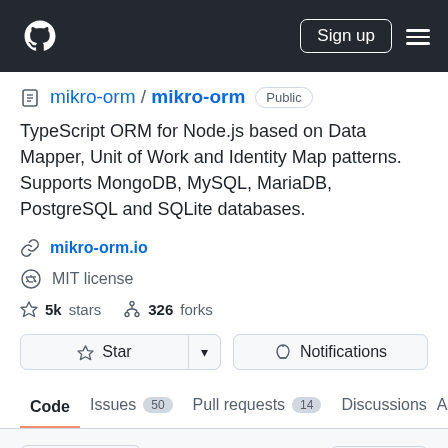GitHub navigation bar with logo, Sign up button, and menu
mikro-orm / mikro-orm Public
TypeScript ORM for Node.js based on Data Mapper, Unit of Work and Identity Map patterns. Supports MongoDB, MySQL, MariaDB, PostgreSQL and SQLite databases.
mikro-orm.io
MIT license
5k stars   326 forks
Star   Notifications
Code   Issues 50   Pull requests 14   Discussions   A
master   Go to file